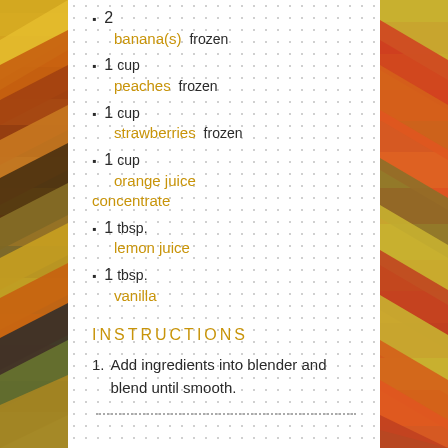[Figure (photo): Left strip of colorful spice piles arranged in chevron/diamond patterns]
[Figure (photo): Right strip of colorful spice piles arranged in chevron/diamond patterns]
2 banana(s)  frozen
1 cup peaches  frozen
1 cup strawberries  frozen
1 cup orange juice concentrate
1 tbsp. lemon juice
1 tbsp. vanilla
INSTRUCTIONS
1. Add ingredients into blender and blend until smooth.